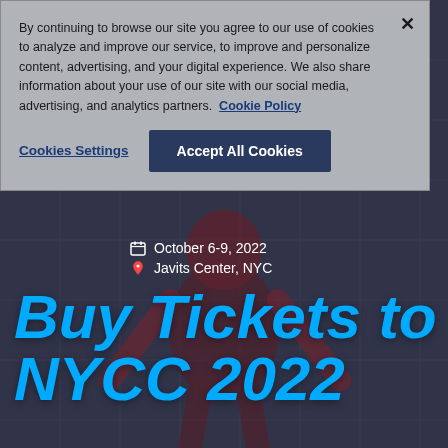By continuing to browse our site you agree to our use of cookies to analyze and improve our service, to improve and personalize content, advertising, and your digital experience. We also share information about your use of our site with our social media, advertising, and analytics partners. Cookie Policy
Cookies Settings
Accept All Cookies
[Figure (photo): Hero background image showing a Spider-Man costumed figure in front of a building, with dark overlay]
October 6-9, 2022
Javits Center, NYC
Buy Tickets to NYCC 2022